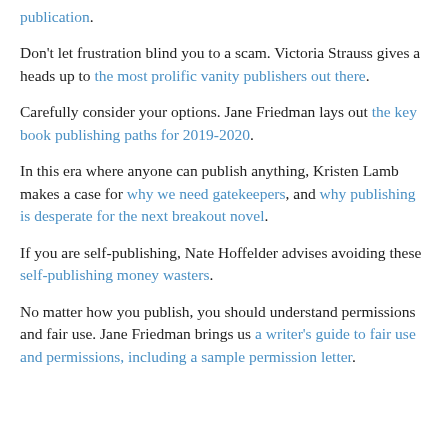publication.
Don't let frustration blind you to a scam. Victoria Strauss gives a heads up to the most prolific vanity publishers out there.
Carefully consider your options. Jane Friedman lays out the key book publishing paths for 2019-2020.
In this era where anyone can publish anything, Kristen Lamb makes a case for why we need gatekeepers, and why publishing is desperate for the next breakout novel.
If you are self-publishing, Nate Hoffelder advises avoiding these self-publishing money wasters.
No matter how you publish, you should understand permissions and fair use. Jane Friedman brings us a writer's guide to fair use and permissions, including a sample permission letter.